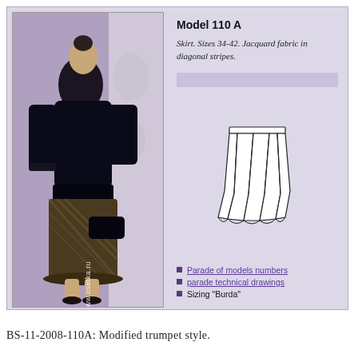[Figure (photo): Fashion photo of a woman wearing a black satin blouse with a wide belt and a jacquard fabric skirt in diagonal stripes, holding a black clutch, with www.osinka.ru watermark]
Model 110 A
Skirt. Sizes 34-42. Jacquard fabric in diagonal stripes.
[Figure (illustration): Technical fashion drawing (flat sketch) of a trumpet-style skirt with vertical seam lines and flared hem]
Parade of models numbers
parade technical drawings
Sizing "Burda"
BS-11-2008-110A: Modified trumpet style.